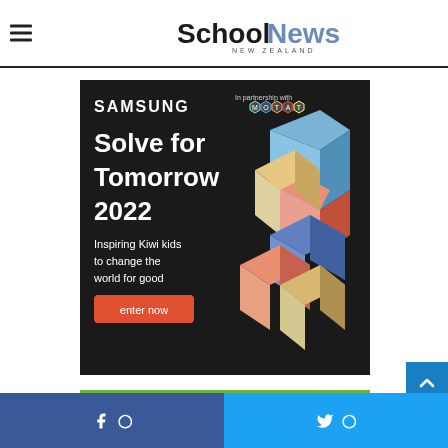SchoolNews NEW ZEALAND
[Figure (screenshot): Samsung 'Solve for Tomorrow 2022' advertisement on black background. Text: SAMSUNG, In partnership with MOTAT, Solve for Tomorrow 2022, Inspiring Kiwi kids to change the world for good, enter now button in orange-red. Right side shows colorful 3D geometric block shapes.]
[Figure (screenshot): Green advertisement banner, partially visible at bottom of page.]
Facebook share | Twitter share